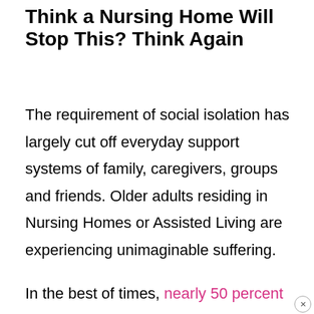Think a Nursing Home Will Stop This? Think Again
The requirement of social isolation has largely cut off everyday support systems of family, caregivers, groups and friends. Older adults residing in Nursing Homes or Assisted Living are experiencing unimaginable suffering.
In the best of times, nearly 50 percent of nursing home residents have alcohol-related problems. The percentage is even